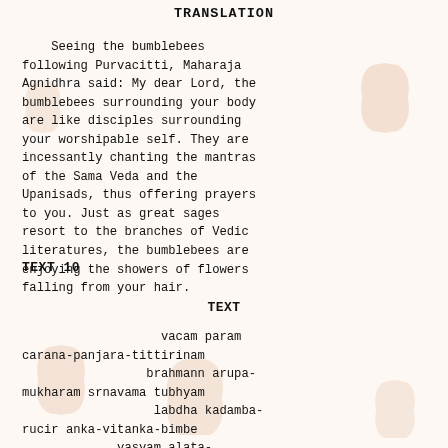TRANSLATION
Seeing the bumblebees following Purvacitti, Maharaja Agnidhra said: My dear Lord, the bumblebees surrounding your body are like disciples surrounding your worshipable self. They are incessantly chanting the mantras of the Sama Veda and the Upanisads, thus offering prayers to you. Just as great sages resort to the branches of Vedic literatures, the bumblebees are enjoying the showers of flowers falling from your hair.
TEXT 10
TEXT
vacam param carana-panjara-tittirinam
                    brahmann arupa-mukharam srnavama tubhyam
                    labdha kadamba-rucir anka-vitanka-bimbe
             yasyam alata-